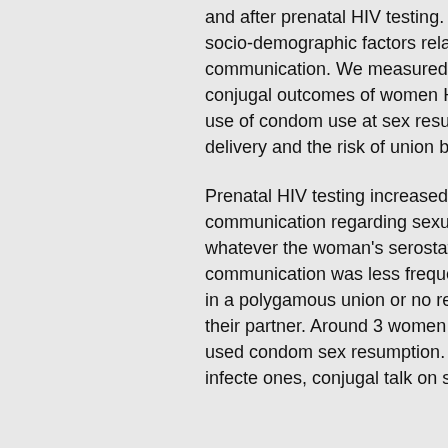and after prenatal HIV testing. We analysed socio-demographic factors related to this communication. We measured two potential conjugal outcomes of women HIV testing: the use of condom use at sex resumption after delivery and the risk of union break-
Prenatal HIV testing increased conjugal communication regarding sexual risks, whatever the woman's serostatus. This communication was less frequent for women in a polygamous union or not residing with their partner. Around 3 women systematically used condoms at sex resumption. Among HIV infected ones, conjugal talk on sexual risks w